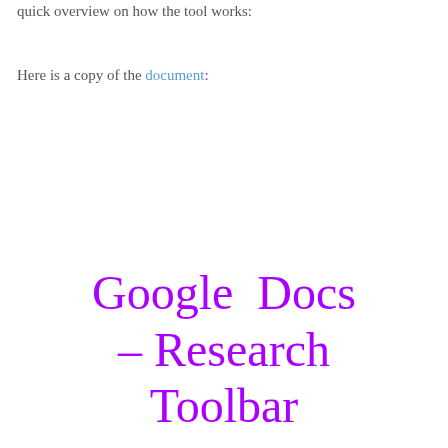quick overview on how the tool works:
Here is a copy of the document:
[Figure (screenshot): Embedded document cover page showing 'Google Docs – Research Toolbar' title in large purple handwriting/cursive font, followed by body text: 'In an open document, choose ‘Tools’ in the toolbar menu, then ‘Research’.']